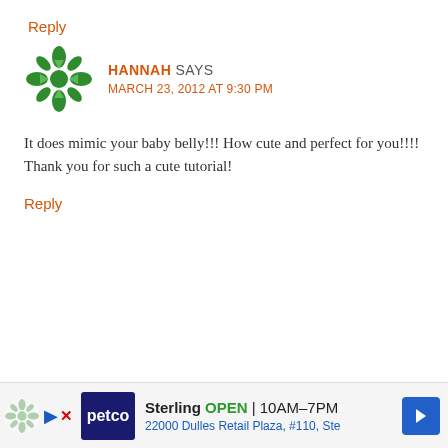Reply
[Figure (illustration): Green decorative snowflake/mandala avatar icon for user Hannah]
HANNAH SAYS
MARCH 23, 2012 AT 9:30 PM
It does mimic your baby belly!!! How cute and perfect for you!!!! Thank you for such a cute tutorial!
Reply
[Figure (screenshot): Petco advertisement banner: Sterling OPEN 10AM-7PM, 22000 Dulles Retail Plaza, #110, Ste]